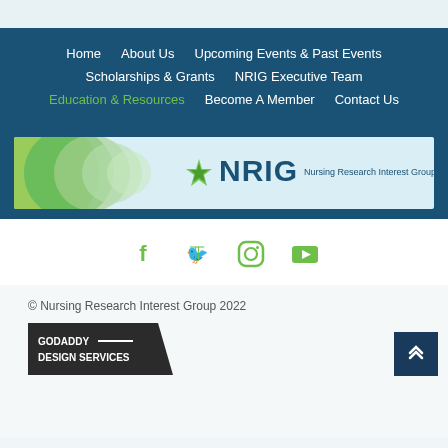Home | About Us | Upcoming Events & Past Events | Scholarships & Grants | NRIG Executive Team | Education & Resources | Become A Member | Contact Us
[Figure (logo): NRIG - Nursing Research Interest Group banner logo with green abstract shapes on left and NRIG text with star icon on right]
[Figure (infographic): Social media icons: Facebook, Twitter, Instagram, YouTube in green color]
© Nursing Research Interest Group 2022
[Figure (logo): GoDaddy Design Services badge in dark background with chevron shape]